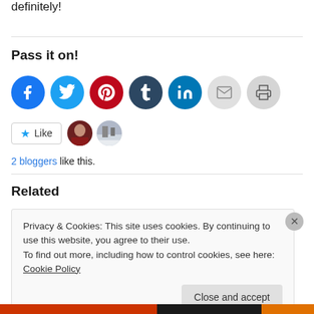definitely!
Pass it on!
[Figure (infographic): Social share buttons: Facebook, Twitter, Pinterest, Tumblr, LinkedIn, Email, Print]
[Figure (infographic): Like button with star icon, and two blogger profile thumbnails]
2 bloggers like this.
Related
Privacy & Cookies: This site uses cookies. By continuing to use this website, you agree to their use. To find out more, including how to control cookies, see here: Cookie Policy
Close and accept